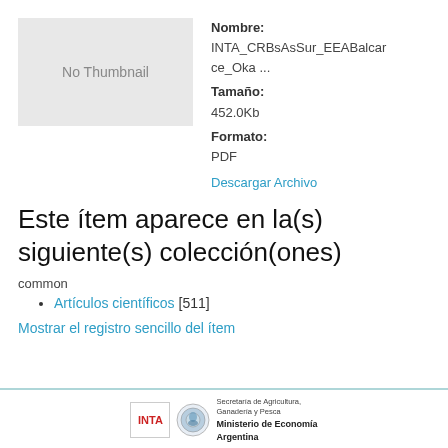[Figure (other): No Thumbnail placeholder image in light gray box]
Nombre:
INTA_CRBsAsSur_EEABalcarce_Oka ...
Tamaño:
452.0Kb
Formato:
PDF
Descargar Archivo
Este ítem aparece en la(s) siguiente(s) colección(ones)
common
Artículos científicos [511]
Mostrar el registro sencillo del ítem
INTA | Secretaría de Agricultura, Ganadería y Pesca | Ministerio de Economía | Argentina